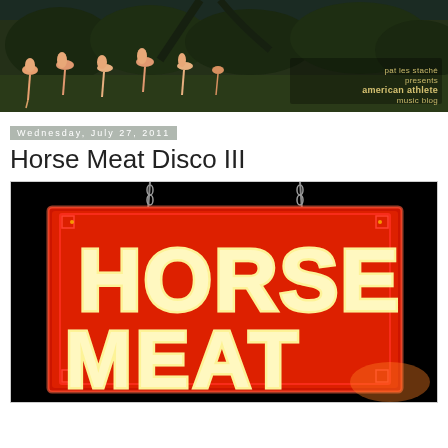[Figure (photo): Blog header image showing flamingos standing in green foliage against a dark sky, with text overlay reading 'pat les stache presents american athlete music blog']
Wednesday, July 27, 2011
Horse Meat Disco III
[Figure (photo): Neon sign reading 'HORSE MEAT' in bright yellow-white neon lettering on a red/orange glowing background, hanging by chains against a black background]